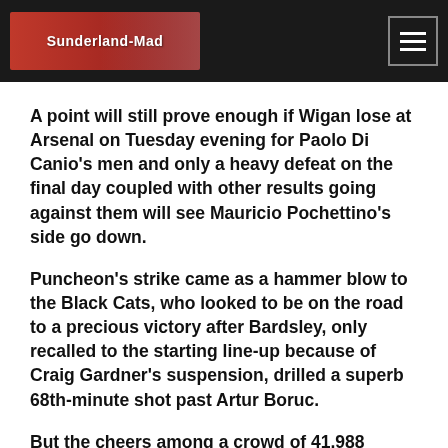[Figure (logo): Sunderland-Mad website logo banner with red background and player images]
A point will still prove enough if Wigan lose at Arsenal on Tuesday evening for Paolo Di Canio's men and only a heavy defeat on the final day coupled with other results going against them will see Mauricio Pochettino's side go down.
Puncheon's strike came as a hammer blow to the Black Cats, who looked to be on the road to a precious victory after Bardsley, only recalled to the starting line-up because of Craig Gardner's suspension, drilled a superb 68th-minute shot past Artur Boruc.
But the cheers among a crowd of 41,988 turned to groans within eight minutes as Puncheon prolonged the agony.